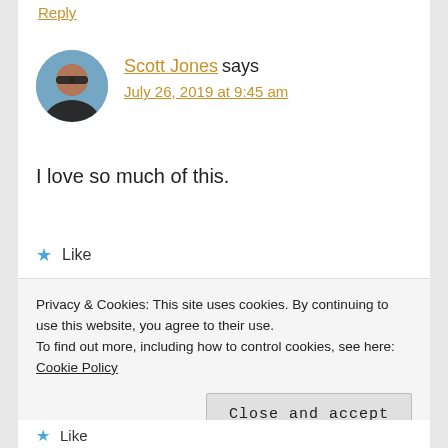Reply
[Figure (photo): Circular avatar photo of Scott Jones, a man wearing sunglasses outdoors with a blue sky background]
Scott Jones says
July 26, 2019 at 9:45 am
I love so much of this.
Like
Reply
[Figure (photo): Partial circular avatar photo of next commenter, golden/tan colored]
Privacy & Cookies: This site uses cookies. By continuing to use this website, you agree to their use.
To find out more, including how to control cookies, see here: Cookie Policy
Close and accept
Like